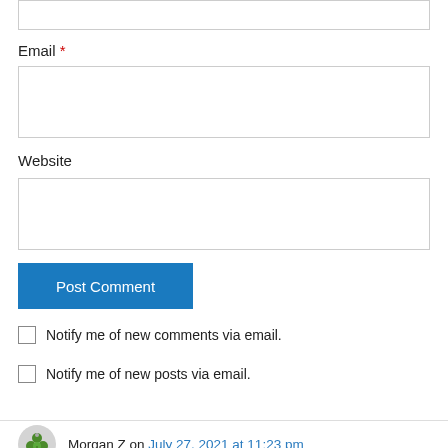Email *
Website
Post Comment
Notify me of new comments via email.
Notify me of new posts via email.
Morgan Z on July 27, 2021 at 11:23 pm